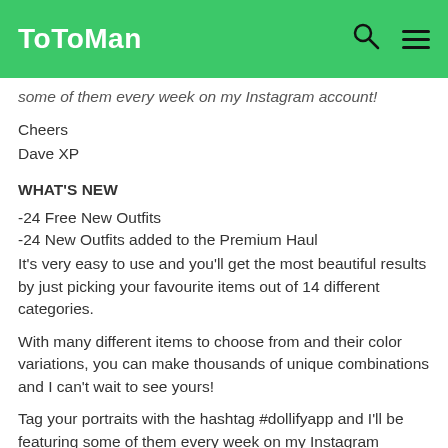ToToMan
some of them every week on my Instagram account!
Cheers
Dave XP
WHAT'S NEW
-24 Free New Outfits
-24 New Outfits added to the Premium Haul
It's very easy to use and you'll get the most beautiful results by just picking your favourite items out of 14 different categories.
With many different items to choose from and their color variations, you can make thousands of unique combinations and I can't wait to see yours!
Tag your portraits with the hashtag #dollifyapp and I'll be featuring some of them every week on my Instagram account!
It's very easy to use and you'll get the most beautiful results by just picking your favourite items out of 14 different categories.